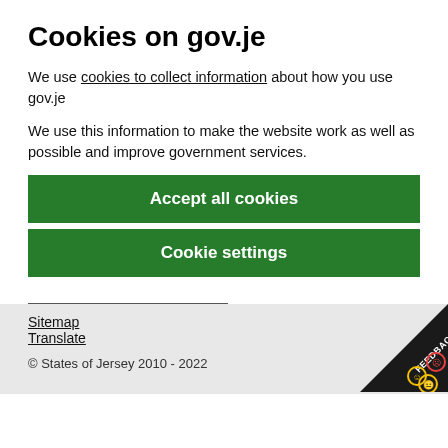Cookies on gov.je
We use cookies to collect information about how you use gov.je
We use this information to make the website work as well as possible and improve government services.
Accept all cookies
Cookie settings
Sitemap
Translate
© States of Jersey 2010 - 2022